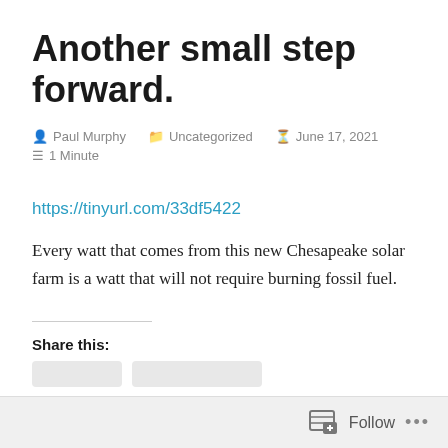Another small step forward.
Paul Murphy   Uncategorized   June 17, 2021   1 Minute
https://tinyurl.com/33df5422
Every watt that comes from this new Chesapeake solar farm is a watt that will not require burning fossil fuel.
Share this:
Follow